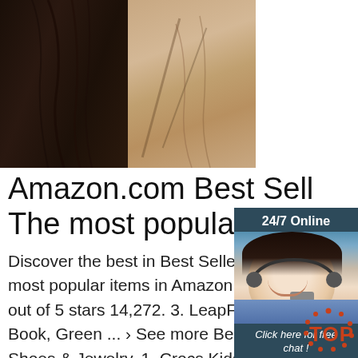[Figure (photo): Top banner photo showing back of a person's head with dark hair against a beige/tan background]
[Figure (photo): Chat widget with woman wearing headset, 24/7 Online header, Click here for free chat!, and QUOTATION button]
Amazon.com Best Sell The most popular item
Discover the best in Best Sellers. Find t most popular items in Amazon Best Sel out of 5 stars 14,272. 3. LeapFrog 100 Animals Book, Green ... › See more Best Sellers in Clothing, Shoes & Jewelry. 1. Crocs Kids' Classic Clog 4.8 out of 5 stars 90,269. 2. …
[Figure (logo): TOP badge with orange dots around it]